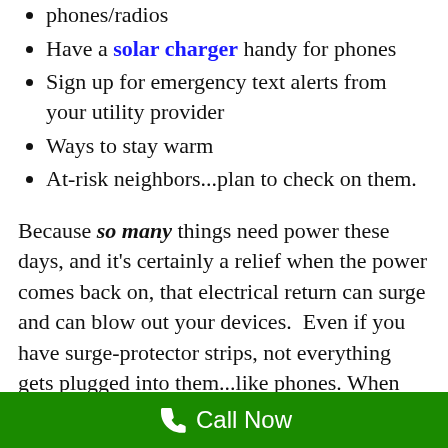phones/radios
Have a solar charger handy for phones
Sign up for emergency text alerts from your utility provider
Ways to stay warm
At-risk neighbors...plan to check on them.
Because so many things need power these days, and it’s certainly a relief when the power comes back on, that electrical return can surge and can blow out your devices.  Even if you have surge-protector strips, not everything gets plugged into them...like phones. When the power goes out be sure to get important electronics
Call Now